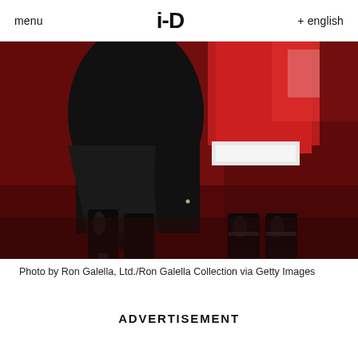menu   i-D   + english
[Figure (photo): Close-up photograph of two people's lower bodies on a dark red carpet. One person wears a black skirt and black platform heeled boots. The other wears a red vinyl/leather jacket and has white fabric visible at the waist, wearing matching black platform boots.]
Photo by Ron Galella, Ltd./Ron Galella Collection via Getty Images
ADVERTISEMENT